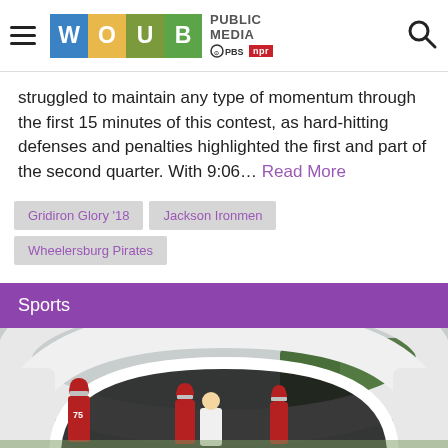WOUB PUBLIC MEDIA PBS NPR
struggled to maintain any type of momentum through the first 15 minutes of this contest, as hard-hitting defenses and penalties highlighted the first and part of the second quarter. With 9:06… Read More
Gridiron Glory '18
Jackson Ironmen
Wheelersburg Pirates
Sports
[Figure (photo): Football players in red uniforms running through a white inflatable tunnel arch onto the field, with trees visible in the background.]